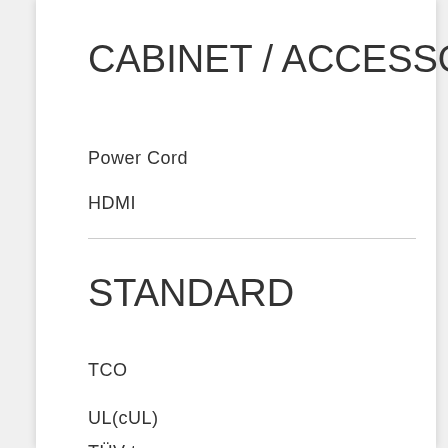CABINET / ACCESSORIES
Power Cord
HDMI
STANDARD
TCO
UL(cUL)
TÜV type